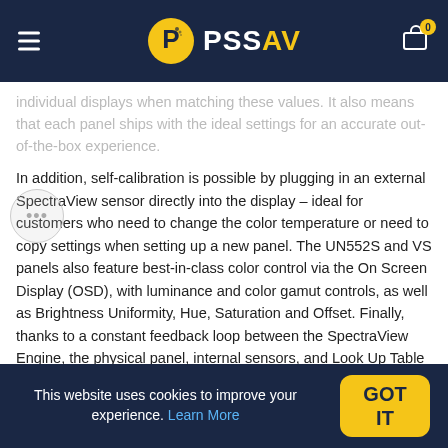PSSAV
individual displays when matching these values. It also means that each panel ships with the ideal settings for an accurate out-of-the-box experience.
In addition, self-calibration is possible by plugging in an external SpectraView sensor directly into the display – ideal for customers who need to change the color temperature or need to copy settings when setting up a new panel. The UN552S and VS panels also feature best-in-class color control via the On Screen Display (OSD), with luminance and color gamut controls, as well as Brightness Uniformity, Hue, Saturation and Offset. Finally, thanks to a constant feedback loop between the SpectraView Engine, the physical panel, internal sensors, and Look Up Table settings, the UN552S and VS is able to maintain a constant brightness for a longer amount of time
This website uses cookies to improve your experience. Learn More GOT IT